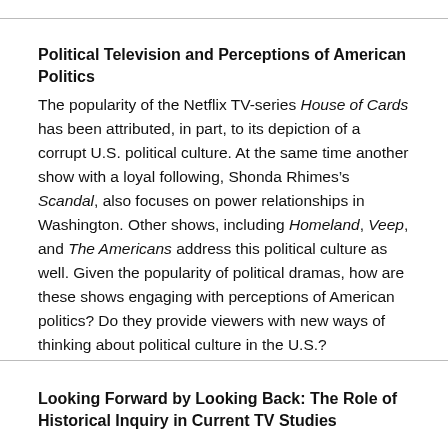Political Television and Perceptions of American Politics
The popularity of the Netflix TV-series House of Cards has been attributed, in part, to its depiction of a corrupt U.S. political culture. At the same time another show with a loyal following, Shonda Rhimes’s Scandal, also focuses on power relationships in Washington. Other shows, including Homeland, Veep, and The Americans address this political culture as well. Given the popularity of political dramas, how are these shows engaging with perceptions of American politics? Do they provide viewers with new ways of thinking about political culture in the U.S.?
Looking Forward by Looking Back: The Role of Historical Inquiry in Current TV Studies